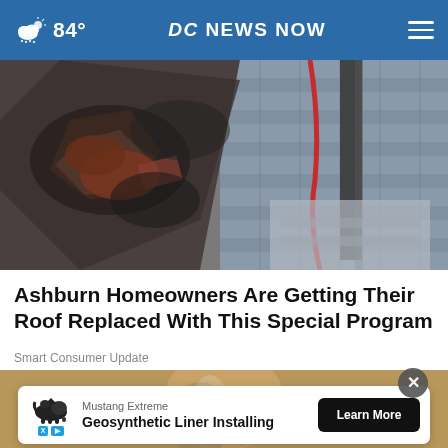84° DC NEWS NOW
[Figure (photo): Aerial/close-up view of damaged roof shingles being replaced, showing torn shingles, debris, roof structure, and tools with a red cable visible]
Ashburn Homeowners Are Getting Their Roof Replaced With This Special Program
Smart Consumer Update
[Figure (photo): Partial second article image showing a blurred indoor scene with warm brown tones]
Mustang Extreme
Geosynthetic Liner Installing
Learn More